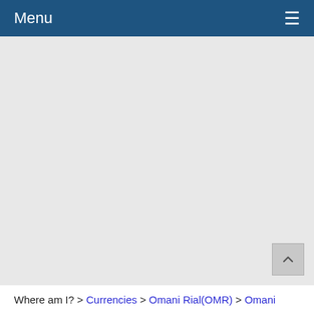Menu ☰
[Figure (other): Large grey content area with a scroll-to-top button in the lower right corner]
Where am I? > Currencies > Omani Rial(OMR) > Omani